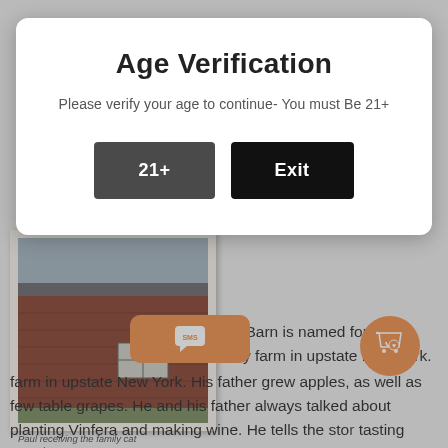Age Verification
Please verify your age to continue- You must Be 21+
[Figure (screenshot): Two buttons: '21+' (dark gray) and 'Exit' (black) for age verification modal]
[Figure (photo): Old photograph of a barn building, captioned 'Paul receiving the family cat Atop the CrossBarn']
CrossBarn is named for the Family farm in upstate New York. His father grew apples, as well as few table grapes. He and his father always talked about planting Vinfera and making wine. He tells the story tasting Chate...em with father at an early age...ow he was transported by the experience. Seems poetic that would name the winery after his Father's farm. Goes to show
[Figure (illustration): Orange SMS chat bubble icon button]
[Figure (illustration): Orange circular shopping bag with heart icon button]